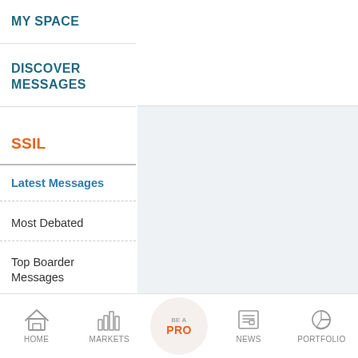MY SPACE
DISCOVER MESSAGES
SSIL
Latest Messages
Most Debated
Top Boarder Messages
EXPLORE MESSAGEBOARD
HOME   MARKETS   BE A PRO   NEWS   PORTFOLIO